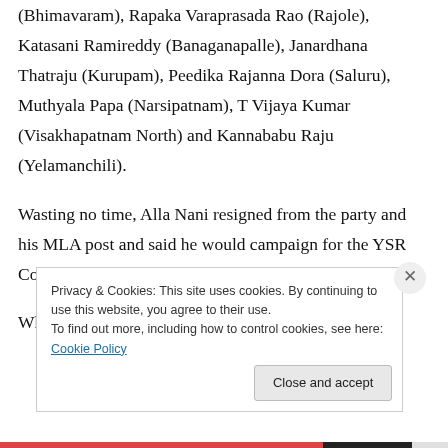(Bhimavaram), Rapaka Varaprasada Rao (Rajole), Katasani Ramireddy (Banaganapalle), Janardhana Thatraju (Kurupam), Peedika Rajanna Dora (Saluru), Muthyala Papa (Narsipatnam), T Vijaya Kumar (Visakhapatnam North) and Kannababu Raju (Yelamanchili).
Wasting no time, Alla Nani resigned from the party and his MLA post and said he would campaign for the YSR Congress from Friday.
What took the Congress camp by surprise on
Privacy & Cookies: This site uses cookies. By continuing to use this website, you agree to their use.
To find out more, including how to control cookies, see here: Cookie Policy